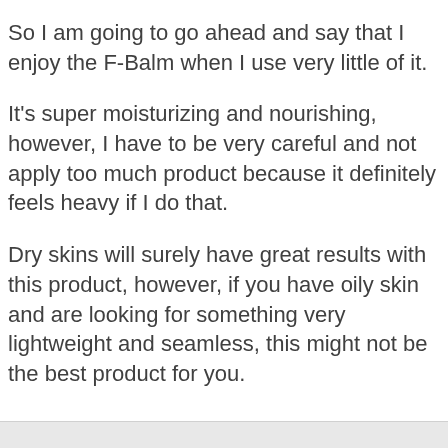So I am going to go ahead and say that I enjoy the F-Balm when I use very little of it.
It's super moisturizing and nourishing, however, I have to be very careful and not apply too much product because it definitely feels heavy if I do that.
Dry skins will surely have great results with this product, however, if you have oily skin and are looking for something very lightweight and seamless, this might not be the best product for you.